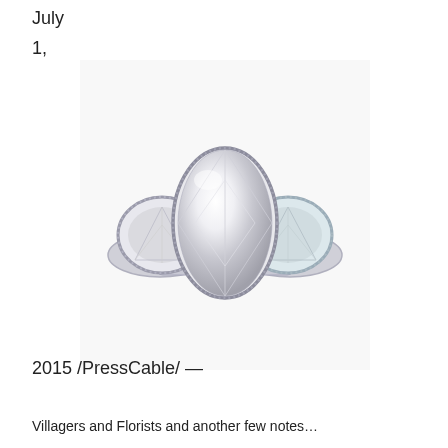July
1,
[Figure (photo): A three-stone diamond engagement ring featuring a large marquise-cut center diamond set in a milgrain bezel, flanked by two half-moon/trillion-cut diamonds in milgrain bezels, set in platinum or white gold.]
2015 /PressCable/ —
Villagers and Florists and another few notes to stay on the page...